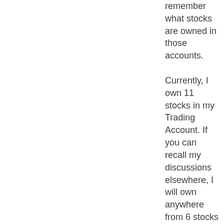remember what stocks are owned in those accounts. Currently, I own 11 stocks in my Trading Account. If you can recall my discussions elsewhere, I will own anywhere from 6 stocks (my minimum number) to 25 stocks (my